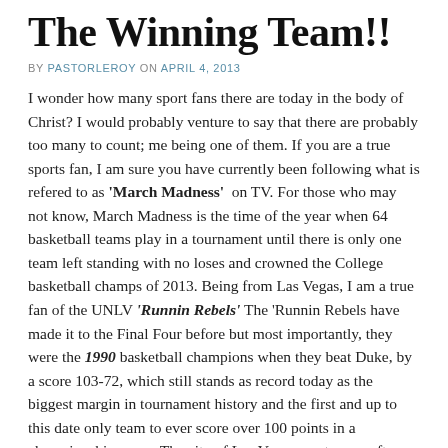The Winning Team!!
BY PASTORLEROY ON APRIL 4, 2013
I wonder how many sport fans there are today in the body of Christ? I would probably venture to say that there are probably too many to count; me being one of them. If you are a true sports fan, I am sure you have currently been following what is refered to as 'March Madness' on TV. For those who may not know, March Madness is the time of the year when 64 basketball teams play in a tournament until there is only one team left standing with no loses and crowned the College basketball champs of 2013. Being from Las Vegas, I am a true fan of the UNLV 'Runnin Rebels' The 'Runnin Rebels have made it to the Final Four before but most importantly, they were the 1990 basketball champions when they beat Duke, by a score 103-72, which still stands as record today as the biggest margin in tournament history and the first and up to this date only team to ever score over 100 points in a championship game. The city of Las Vegas went crazy after that great victory. The reigning champion Runnin Rebels then